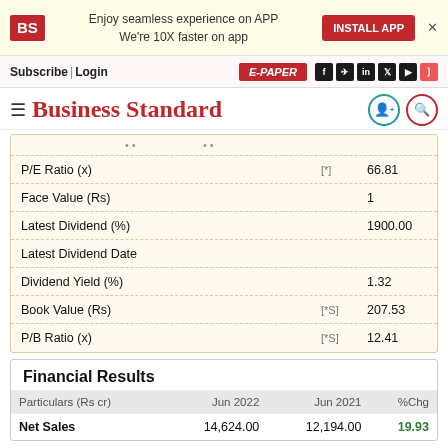BS | Enjoy seamless experience on APP | We're 10X faster on app | INSTALL APP
Subscribe | Login | E-PAPER
Business Standard
|  |  |  |
| --- | --- | --- |
| P/E Ratio (x) | [*] | 66.81 |
| Face Value (Rs) |  | 1 |
| Latest Dividend (%) |  | 1900.00 |
| Latest Dividend Date |  |  |
| Dividend Yield (%) |  | 1.32 |
| Book Value (Rs) | [*S] | 207.53 |
| P/B Ratio (x) | [*S] | 12.41 |
Financial Results
| Particulars (Rs cr) | Jun 2022 | Jun 2021 | %Chg |
| --- | --- | --- | --- |
| Net Sales | 14,624.00 | 12,194.00 | 19.93 |